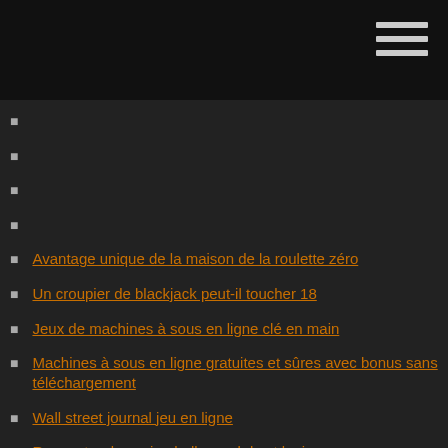Avantage unique de la maison de la roulette zéro
Un croupier de blackjack peut-il toucher 18
Jeux de machines à sous en ligne clé en main
Machines à sous en ligne gratuites et sûres avec bonus sans téléchargement
Wall street journal jeu en ligne
Rencontre du casino hollywood de st louis
Emplacement de synchronisation du système pxi express
Jeux en ligne de casino quatre vents